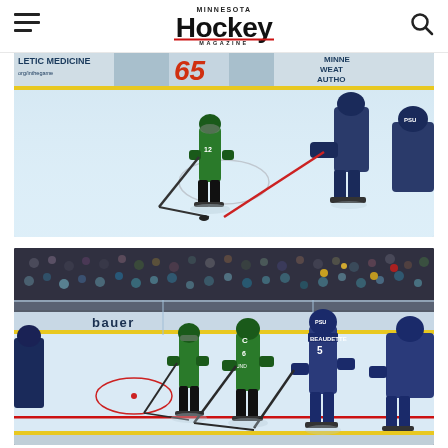Minnesota Hockey Magazine — navigation header with hamburger menu, logo, and search icon
[Figure (photo): Ice hockey action photo showing players in green (North Dakota Fighting Hawks) and navy blue uniforms competing on ice, with arena boards visible showing ads: LETIC MEDICINE, org/inthegame, 65 logo, MINNES WEAT AUTHO]
[Figure (photo): Ice hockey action photo showing players in green and navy blue uniforms (player #5 BEAUDETTE visible in navy) skating on ice with BAUER advertisement board visible and crowd in background arena]